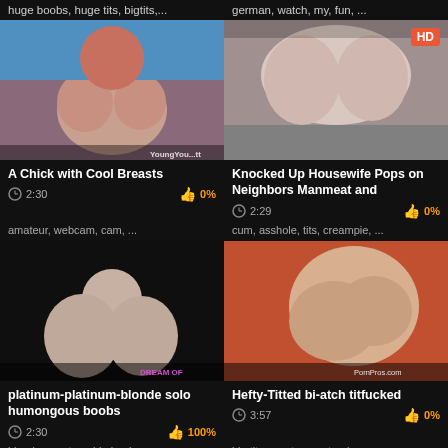huge boobs, huge tits, bigtits,...
german, watch, my, fun, ...
[Figure (photo): Video thumbnail - woman with large breasts, watermark YoungYou...]
[Figure (photo): Video thumbnail - large breasts close up, HD badge]
A Chick with Cool Breasts
Knocked Up Housewife Pops on Neighbors Manmeat and
2:30  0%
2:29  0%
amateur, webcam, cam, ...
cum, asshole, tits, creampie, ...
[Figure (photo): Video thumbnail - blonde woman with large breasts, DREAM OF watermark]
[Figure (photo): Video thumbnail - large woman being intimate, PornPros.com watermark]
platinum-platinum-blonde solo humongous boobs
Hefty-Titted bi-atch titfucked
2:30  100%
3:57  0%
blonde, amateur, big boobs, ...
big tits, amateur, natural, ...